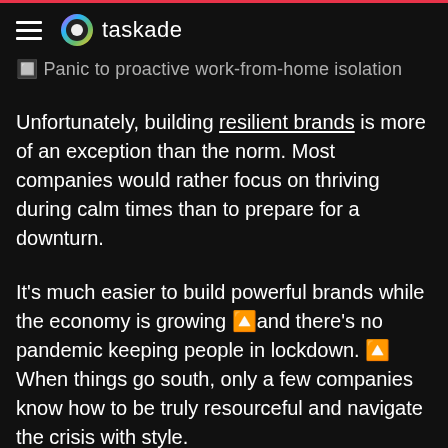taskade
Panic to proactive work-from-home isolation
Unfortunately, building resilient brands is more of an exception than the norm. Most companies would rather focus on thriving during calm times than to prepare for a downturn.
It's much easier to build powerful brands while the economy is growing 🔼and there's no pandemic keeping people in lockdown. 🔼 When things go south, only a few companies know how to be truly resourceful and navigate the crisis with style.